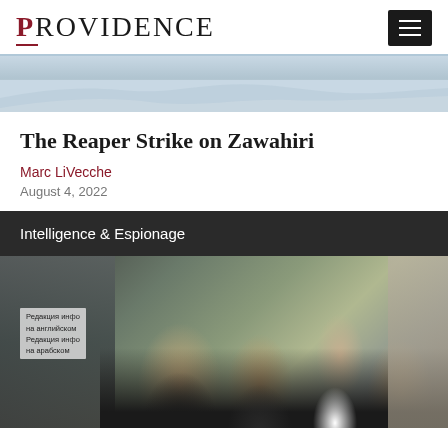PROVIDENCE
[Figure (photo): Landscape banner image showing mountains with light blue sky and haze at the top of the article]
The Reaper Strike on Zawahiri
Marc LiVecche
August 4, 2022
Intelligence & Espionage
[Figure (photo): Photograph showing several people including a man smiling in the foreground (resembling Vladimir Putin) with Cyrillic text banners visible on the left side reading 'Редакция инфо... на английском...' and 'Редакция инфо... на арабском...']